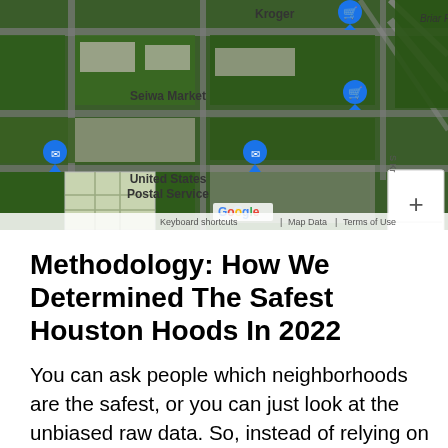[Figure (map): Google Maps satellite view showing a Houston neighborhood area with Kroger, Seiwa Market, and United States Postal Service labeled. Blue shopping cart pins visible at Kroger and Seiwa Market locations. Map controls (zoom in/out) visible on right side. Google logo and 'Keyboard shortcuts | Map Data | Terms of Use' visible at bottom.]
Methodology: How We Determined The Safest Houston Hoods In 2022
You can ask people which neighborhoods are the safest, or you can just look at the unbiased raw data. So, instead of relying on speculation and opinion, we analyzed the hard numbers from the FBIs most recent crime report